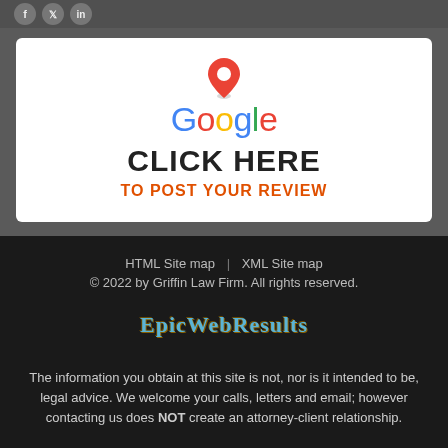[Figure (other): Social media icons: Facebook, Twitter, LinkedIn circles on dark bar]
[Figure (other): Google review call-to-action card with Google logo (map pin above), 'CLICK HERE' in large bold black text, 'TO POST YOUR REVIEW' in orange bold text, white card on gray background]
HTML Site map | XML Site map
© 2022 by Griffin Law Firm. All rights reserved.
[Figure (logo): EpicWebResults logo in stylized teal/blue serif font]
The information you obtain at this site is not, nor is it intended to be, legal advice. We welcome your calls, letters and email; however contacting us does NOT create an attorney-client relationship.